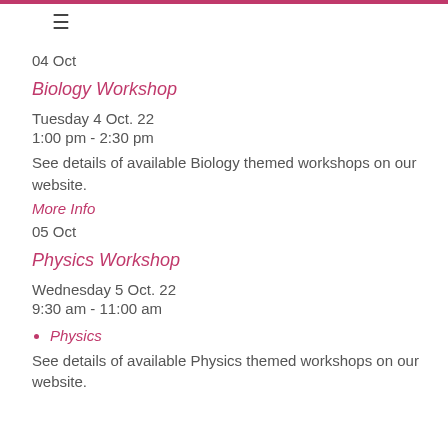≡
04 Oct
Biology Workshop
Tuesday 4 Oct. 22
1:00 pm - 2:30 pm
See details of available Biology themed workshops on our website.
More Info
05 Oct
Physics Workshop
Wednesday 5 Oct. 22
9:30 am - 11:00 am
Physics
See details of available Physics themed workshops on our website.